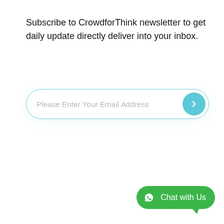Subscribe to CrowdforThink newsletter to get daily update directly deliver into your inbox.
[Figure (other): Email subscription input field with placeholder text 'Please Enter Your Email Address' and a teal circular submit arrow button]
[Figure (other): Green WhatsApp chat widget button with WhatsApp logo icon and text 'Chat with Us']